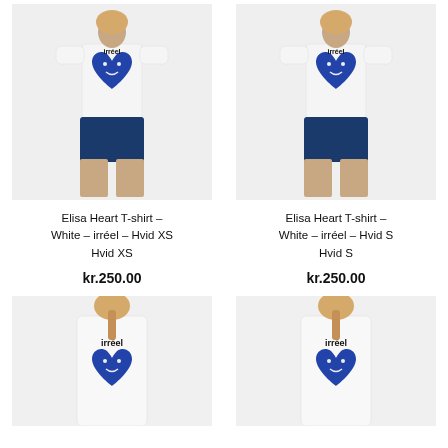[Figure (photo): Model wearing white Elisa Heart T-shirt with blue heart graphic and dark denim shorts, front view, XS size]
[Figure (photo): Model wearing white Elisa Heart T-shirt with blue heart graphic and dark denim shorts, front view, S size]
Elisa Heart T-shirt – White – irréel – Hvid XS Hvid XS
kr.250.00
Elisa Heart T-shirt – White – irréel – Hvid S Hvid S
kr.250.00
[Figure (photo): Model with braided hair wearing white T-shirt with irréel blue heart logo, partial view from behind/side]
[Figure (photo): Model with braided hair wearing white T-shirt with irréel blue heart logo, partial view from behind/side]